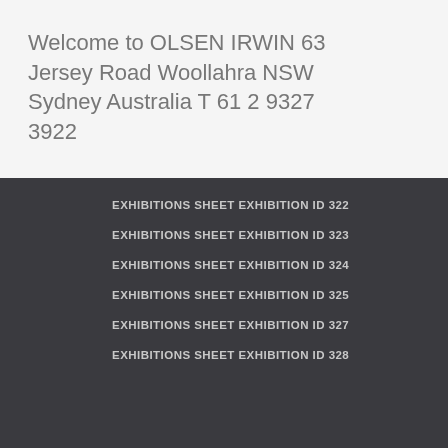Welcome to OLSEN IRWIN 63 Jersey Road Woollahra NSW Sydney Australia T 61 2 9327 3922
EXHIBITIONS SHEET EXHIBITION ID 322
EXHIBITIONS SHEET EXHIBITION ID 323
EXHIBITIONS SHEET EXHIBITION ID 324
EXHIBITIONS SHEET EXHIBITION ID 325
EXHIBITIONS SHEET EXHIBITION ID 327
EXHIBITIONS SHEET EXHIBITION ID 328